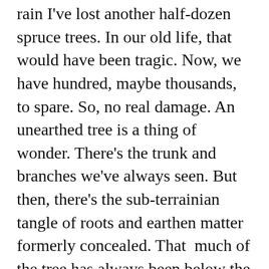rain I've lost another half-dozen spruce trees. In our old life, that would have been tragic. Now, we have hundred, maybe thousands, to spare. So, no real damage. An unearthed tree is a thing of wonder. There's the trunk and branches we've always seen. But then, there's the sub-terrainian tangle of roots and earthen matter formerly concealed. That  much of the tree has always been below the surface is a great discovery after a storm.
This week we're thinking about baptism and the church partner: the healthy church partner makes the invisible work of God visible through baptism. In our understanding at Woodland, baptism functions, along with the Lord's Table, as an ordinance. Together, they make visible